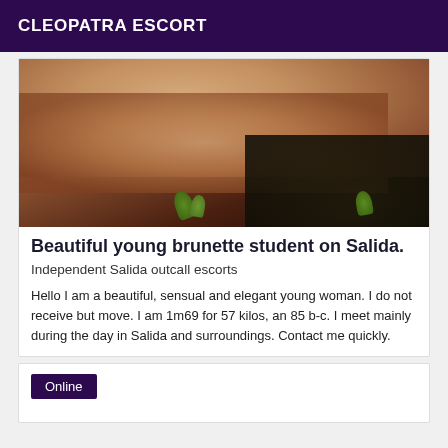CLEOPATRA ESCORT
[Figure (photo): Close-up photo of a person's body with small green plants, warm skin tones against a dark background]
Beautiful young brunette student on Salida.
Independent Salida outcall escorts
Hello I am a beautiful, sensual and elegant young woman. I do not receive but move. I am 1m69 for 57 kilos, an 85 b-c. I meet mainly during the day in Salida and surroundings. Contact me quickly.
Online